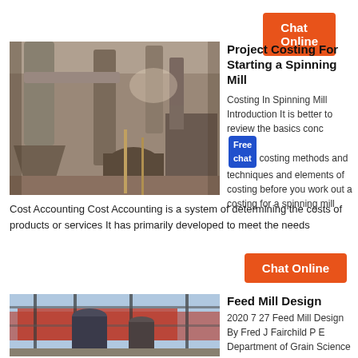[Figure (other): Orange Chat Online button at top right]
[Figure (photo): Industrial mill machinery — large pipes, cyclone separators and equipment in a factory interior, sepia/grey tones]
Project Costing For Starting a Spinning Mill
Costing In Spinning Mill Introduction It is better to review the basics conc costing methods and techniques and elements of costing before you work out a costing for a spinning mill
Cost Accounting Cost Accounting is a system of determining the costs of products or services It has primarily developed to meet the needs
[Figure (other): Orange Chat Online button in middle right area]
[Figure (photo): Industrial feed mill machinery — large cylindrical tanks and equipment under scaffolding structure]
Feed Mill Design
2020 7 27 Feed Mill Design By Fred J Fairchild P E Department of Grain Science